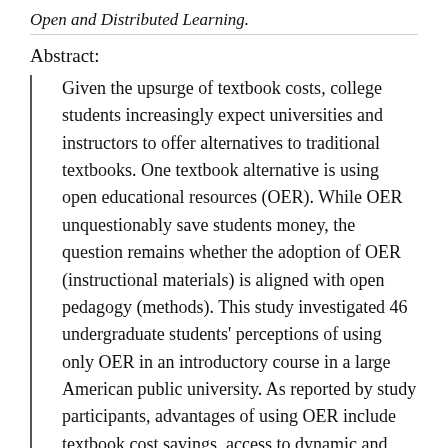Open and Distributed Learning.
Abstract:
Given the upsurge of textbook costs, college students increasingly expect universities and instructors to offer alternatives to traditional textbooks. One textbook alternative is using open educational resources (OER). While OER unquestionably save students money, the question remains whether the adoption of OER (instructional materials) is aligned with open pedagogy (methods). This study investigated 46 undergraduate students' perceptions of using only OER in an introductory course in a large American public university. As reported by study participants, advantages of using OER include textbook cost savings, access to dynamic and plentiful OER materials, that OER enabling mobile learning, and that OER foster the